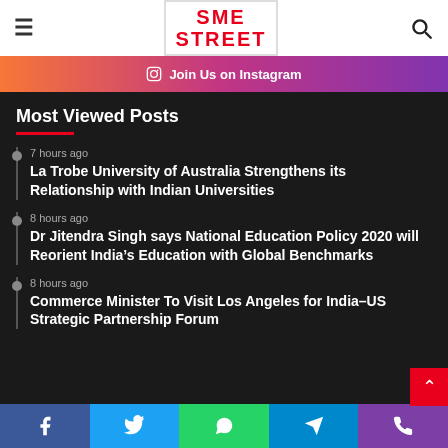SME STREET
[Figure (other): Join Us on Instagram banner with orange to purple gradient]
Most Viewed Posts
7 hours ago — La Trobe University of Australia Strengthens its Relationship with Indian Universities
8 hours ago — Dr Jitendra Singh says National Education Policy 2020 will Reorient India's Education with Global Benchmarks
8 hours ago — Commerce Minister To Visit Los Angeles for India-US Strategic Partnership Forum
Facebook | Twitter | WhatsApp | Telegram | Phone